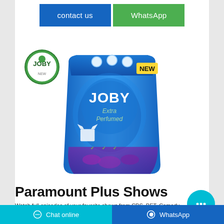[Figure (other): Two buttons side by side: 'contact us' on blue background and 'WhatsApp' on green background]
[Figure (illustration): JOBY Extra Perfumed laundry detergent powder bag (blue/purple packaging with lavender imagery and 'NEW' label), with JOBY circular logo in top left]
Paramount Plus Shows
Watch full episodes of your favorite shows from CBS, BET, Comedy Central, Nickelodeon, MTV, VH1, and more on Paramount+
[Figure (other): Floating cyan circular chat button with three dots icon]
Chat online   WhatsApp